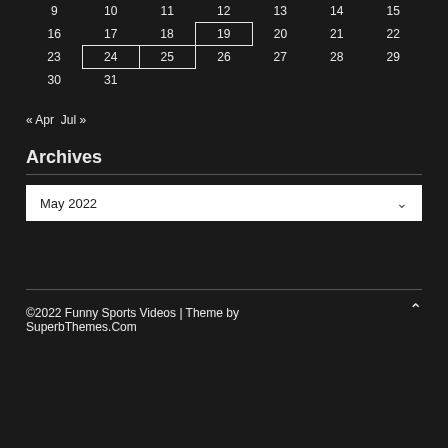| 9 | 10 | 11 | 12 | 13 | 14 | 15 |
| 16 | 17 | 18 | 19* | 20 | 21 | 22 |
| 23 | 24* | 25* | 26 | 27 | 28 | 29 |
| 30 | 31 |  |  |  |  |  |
« Apr  Jul »
Archives
May 2022
©2022 Funny Sports Videos | Theme by SuperbThemes.Com